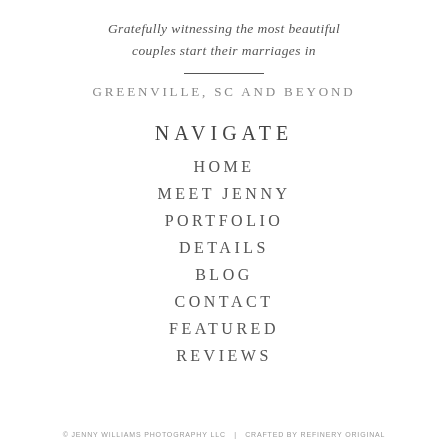Gratefully witnessing the most beautiful couples start their marriages in
GREENVILLE, SC AND BEYOND
NAVIGATE
HOME
MEET JENNY
PORTFOLIO
DETAILS
BLOG
CONTACT
FEATURED
REVIEWS
© JENNY WILLIAMS PHOTOGRAPHY LLC   |   CRAFTED BY REFINERY ORIGINAL